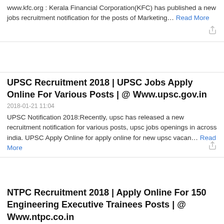www.kfc.org : Kerala Financial Corporation(KFC) has published a new jobs recruitment notification for the posts of Marketing… Read More
UPSC Recruitment 2018 | UPSC Jobs Apply Online For Various Posts | @ Www.upsc.gov.in
2018-01-21 11:04
UPSC Notification 2018:Recently, upsc has released a new recruitment notification for various posts, upsc jobs openings in across india. UPSC Apply Online for apply online for new upsc vacan… Read More
NTPC Recruitment 2018 | Apply Online For 150 Engineering Executive Trainees Posts | @ Www.ntpc.co.in
2018-01-21 05:24
NTPC Recruitment 2018 | Apply Online For 150 Engineering Executive Trainees Posts...